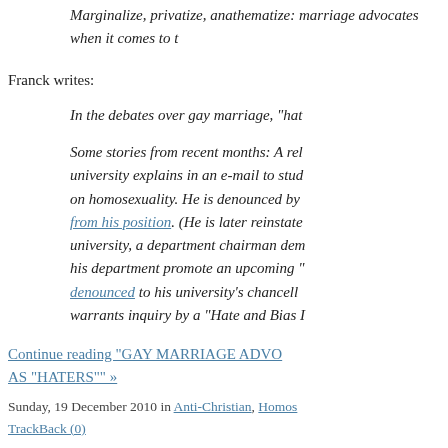Marginalize, privatize, anathematize: marriage advocates when it comes to t
Franck writes:
In the debates over gay marriage, "hat
Some stories from recent months: A rel university explains in an e-mail to stud on homosexuality. He is denounced by from his position. (He is later reinstate university, a department chairman dem his department promote an upcoming " denounced to his university's chancelc warrants inquiry by a "Hate and Bias I
Continue reading "GAY MARRIAGE ADVO AS "HATERS"" »
Sunday, 19 December 2010 in Anti-Christian, Homos TrackBack (0)
Top Fifty Blogs by Theology Professo
I found a link to the list on Dr. Ben Witherin the list doesn't include Scot McKnight's exce with a great many of the "top fifty" listed